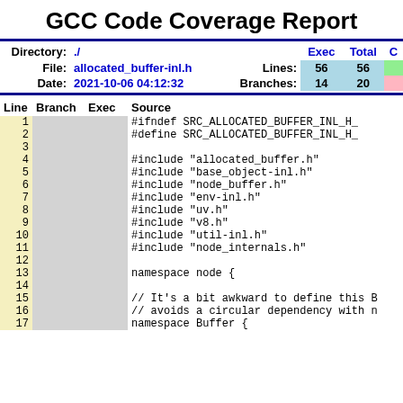GCC Code Coverage Report
| Directory: | ./ |  | Exec | Total | C |
| --- | --- | --- | --- | --- | --- |
| File: | allocated_buffer-inl.h | Lines: | 56 | 56 |  |
| Date: | 2021-10-06 04:12:32 | Branches: | 14 | 20 |  |
| Line | Branch | Exec | Source |
| --- | --- | --- | --- |
| 1 |  |  | #ifndef SRC_ALLOCATED_BUFFER_INL_H_ |
| 2 |  |  | #define SRC_ALLOCATED_BUFFER_INL_H_ |
| 3 |  |  |  |
| 4 |  |  | #include "allocated_buffer.h" |
| 5 |  |  | #include "base_object-inl.h" |
| 6 |  |  | #include "node_buffer.h" |
| 7 |  |  | #include "env-inl.h" |
| 8 |  |  | #include "uv.h" |
| 9 |  |  | #include "v8.h" |
| 10 |  |  | #include "util-inl.h" |
| 11 |  |  | #include "node_internals.h" |
| 12 |  |  |  |
| 13 |  |  | namespace node { |
| 14 |  |  |  |
| 15 |  |  | // It's a bit awkward to define this B |
| 16 |  |  | // avoids a circular dependency with n |
| 17 |  |  | namespace Buffer { |